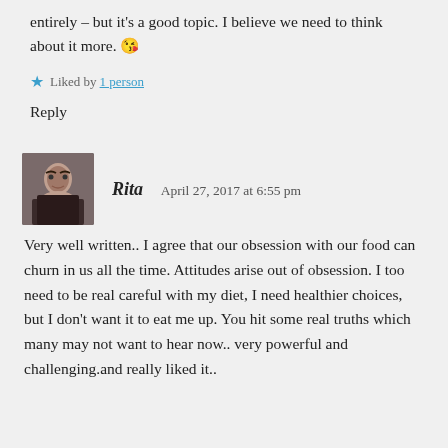entirely – but it's a good topic. I believe we need to think about it more. 😘
★ Liked by 1 person
Reply
Rita   April 27, 2017 at 6:55 pm
Very well written.. I agree that our obsession with our food can churn in us all the time. Attitudes arise out of obsession. I too need to be real careful with my diet, I need healthier choices, but I don't want it to eat me up. You hit some real truths which many may not want to hear now.. very powerful and challenging.and really liked it..